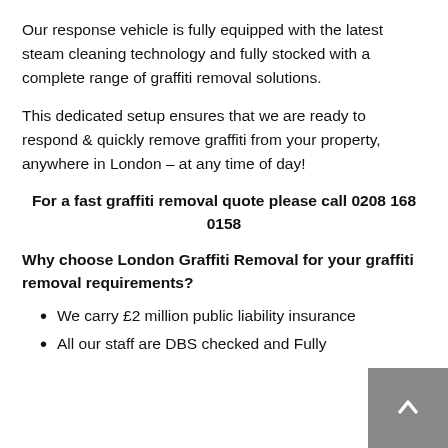Our response vehicle is fully equipped with the latest steam cleaning technology and fully stocked with a complete range of graffiti removal solutions.
This dedicated setup ensures that we are ready to respond & quickly remove graffiti from your property, anywhere in London – at any time of day!
For a fast graffiti removal quote please call 0208 168 0158
Why choose London Graffiti Removal for your graffiti removal requirements?
We carry £2 million public liability insurance
All our staff are DBS checked and Fully